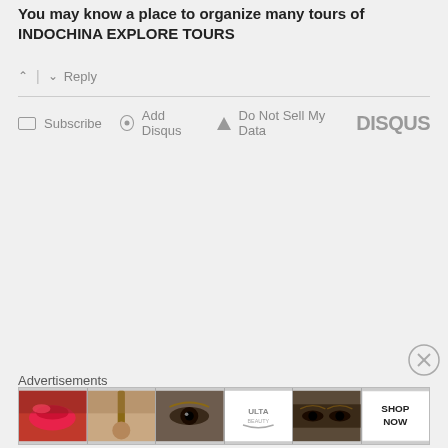You may know a place to organize many tours of INDOCHINA EXPLORE TOURS
^ | v  Reply
Subscribe  Add Disqus  Do Not Sell My Data  DISQUS
Advertisements
[Figure (illustration): Advertisement strip showing beauty/makeup images: lips with brush, makeup brush, eye with shadow, ULTA beauty logo, smoky eyes close-up, and SHOP NOW text button]